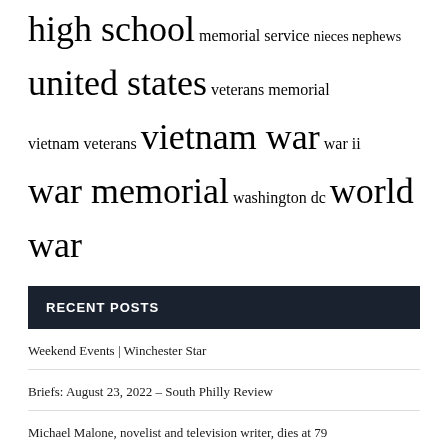high school  memorial service  nieces nephews  united states  veterans memorial  vietnam veterans  vietnam war  war ii  war memorial  washington dc  world war
RECENT POSTS
Weekend Events | Winchester Star
Briefs: August 23, 2022 – South Philly Review
Michael Malone, novelist and television writer, dies at 79
How to Boost Microfinance in the United States
Purple poppies at Albion Gardens Destiny memorial to mark lives of service